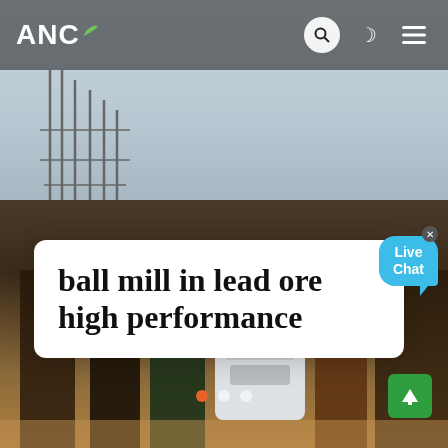ANC
[Figure (photo): Workers standing around industrial mining ball mill equipment on a construction/mining site with sandy ground and overcast sky. Several workers in work clothes and boots are visible.]
ball mill in lead ore high performance